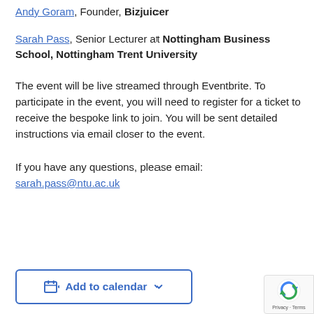Andy Goram, Founder, Bizjuicer
Sarah Pass, Senior Lecturer at Nottingham Business School, Nottingham Trent University
The event will be live streamed through Eventbrite. To participate in the event, you will need to register for a ticket to receive the bespoke link to join. You will be sent detailed instructions via email closer to the event.
If you have any questions, please email: sarah.pass@ntu.ac.uk
[Figure (other): Add to calendar button with dropdown arrow]
[Figure (other): reCAPTCHA Privacy - Terms badge]